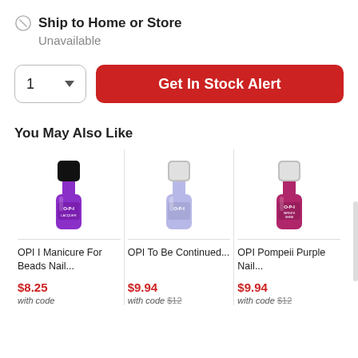Ship to Home or Store
Unavailable
Get In Stock Alert
You May Also Like
[Figure (photo): OPI nail polish bottle in purple/violet color with black cap, labeled OPI Lacquer]
OPI I Manicure For Beads Nail...
$8.25
with code
[Figure (photo): OPI nail polish bottle in lavender/periwinkle color with silver cap, labeled OPI]
OPI To Be Continued...
$9.94
with code $12
[Figure (photo): OPI nail polish bottle in deep pink/magenta color with silver cap, labeled OPI Infinite Shine]
OPI Pompeii Purple Nail...
$9.94
with code $12